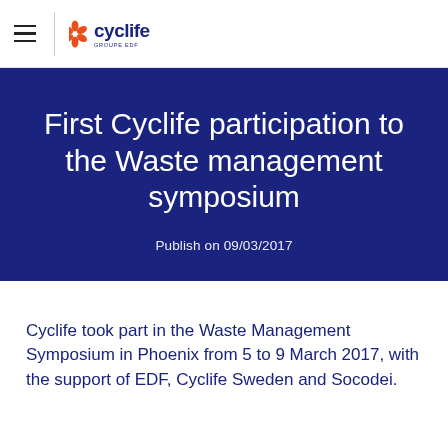Cyclife (logo) — navigation header
First Cyclife participation to the Waste management symposium
Publish on 09/03/2017
Cyclife took part in the Waste Management Symposium in Phoenix from 5 to 9 March 2017, with the support of EDF, Cyclife Sweden and Socodei.